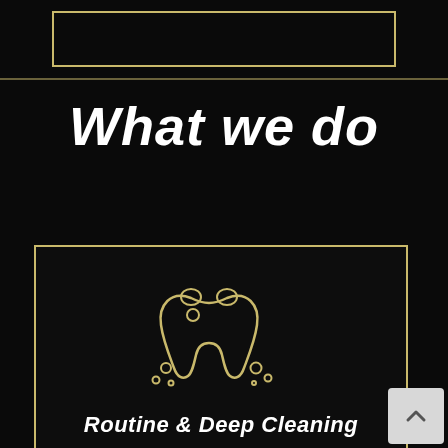[Figure (illustration): Top gold-bordered rectangle box on black background, partial view of a service card header]
What we do
[Figure (illustration): Gold-outlined tooth icon with bubbles/cleaning droplets, inside a gold-bordered black card. Below the icon is the text 'Routine & Deep Cleaning' in white bold italic.]